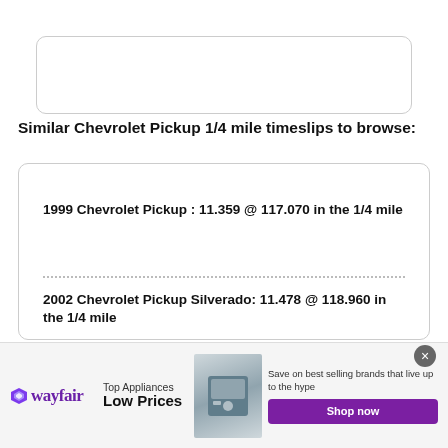[Figure (other): Empty search box with rounded border]
Similar Chevrolet Pickup 1/4 mile timeslips to browse:
1999 Chevrolet Pickup : 11.359 @ 117.070 in the 1/4 mile
2002 Chevrolet Pickup Silverado: 11.478 @ 118.960 in the 1/4 mile
[Figure (other): Wayfair advertisement banner: Top Appliances Low Prices, Save on best selling brands that live up to the hype, Shop now button]